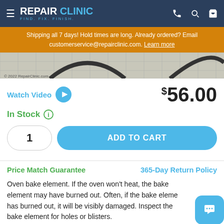REPAIR CLINIC - FIND. FIX. FINISH.
Shipping all 7 days! Hold times are long. Already ordered? Email customerservice@repairclinic.com. Learn more
[Figure (photo): Product image showing oven bake element on grid background with RepairClinic watermark]
Watch Video
$56.00
In Stock
1
ADD TO CART
Price Match Guarantee
365-Day Return Policy
Oven bake element. If the oven won't heat, the bake element may have burned out. Often, if the bake element has burned out, it will be visibly damaged. Inspect the bake element for holes or blisters.